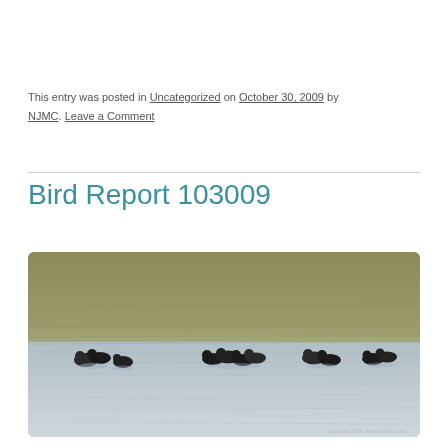This entry was posted in Uncategorized on October 30, 2009 by NJMC. Leave a Comment
Bird Report 103009
[Figure (photo): Photograph of ducks swimming on a lake or pond. The water reflects olive/brown colors in the background and lighter blue-grey in the foreground. Multiple dark ducks are visible in groups across the water surface. Copyright 2009 meadowblog.net watermark in lower right corner.]